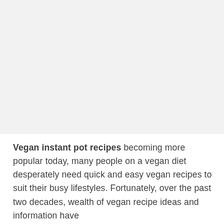[Figure (photo): Large image placeholder area at the top of the page, light gray background]
Vegan instant pot recipes becoming more popular today, many people on a vegan diet desperately need quick and easy vegan recipes to suit their busy lifestyles. Fortunately, over the past two decades, wealth of vegan recipe ideas and information have